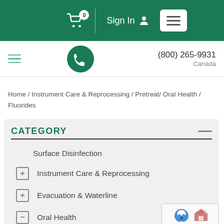[Figure (screenshot): Green navigation bar with shopping cart icon showing badge '0', vertical divider, 'Sign In' text with person icon, and white hamburger menu button]
[Figure (screenshot): White phone/contact bar with teal hamburger icon on left, green circular phone icon in center, and phone number (800) 265-9931 with 'Canada' on the right]
Home / Instrument Care & Reprocessing / Pretreat/ Oral Health / Fluorides
CATEGORY
Surface Disinfection
Instrument Care & Reprocessing
Evacuation & Waterline
Oral Health